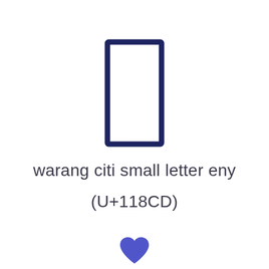[Figure (illustration): A tall narrow rectangle outline drawn in dark navy/indigo color, representing the Unicode character warang citi small letter eny (U+118CD)]
warang citi small letter eny
(U+118CD)
[Figure (illustration): A blue/indigo heart icon]